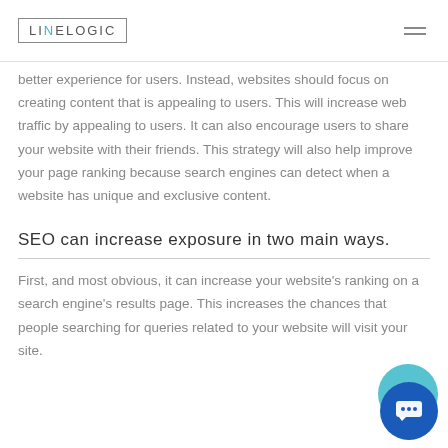LINELOGIC
better experience for users. Instead, websites should focus on creating content that is appealing to users. This will increase web traffic by appealing to users. It can also encourage users to share your website with their friends. This strategy will also help improve your page ranking because search engines can detect when a website has unique and exclusive content.
SEO can increase exposure in two main ways.
First, and most obvious, it can increase your website's ranking on a search engine's results page. This increases the chances that people searching for queries related to your website will visit your site.